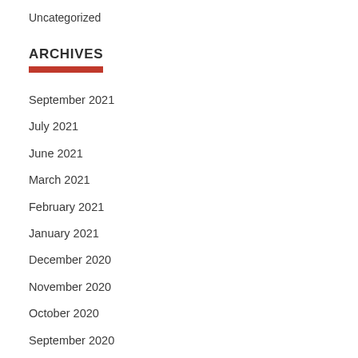Uncategorized
ARCHIVES
September 2021
July 2021
June 2021
March 2021
February 2021
January 2021
December 2020
November 2020
October 2020
September 2020